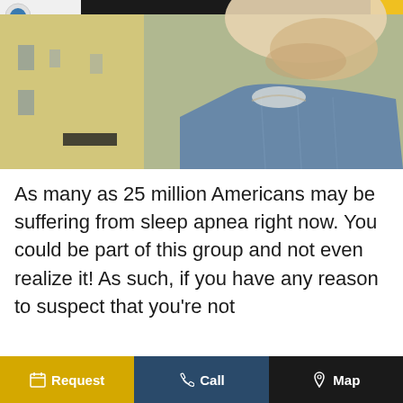[Figure (photo): Close-up photo of a smiling man with stubble beard wearing a denim jacket, outdoors with blurred building background]
As many as 25 million Americans may be suffering from sleep apnea right now. You could be part of this group and not even realize it! As such, if you have any reason to suspect that you're not
Request  Call  Map